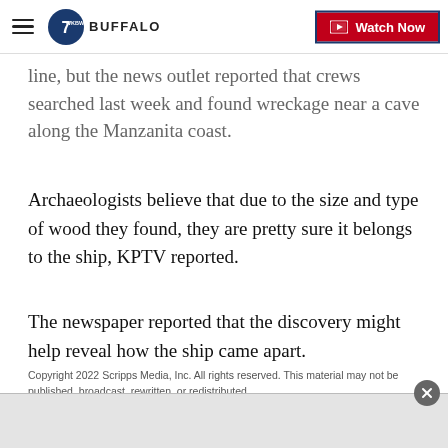7 BUFFALO | Watch Now
line, but the news outlet reported that crews searched last week and found wreckage near a cave along the Manzanita coast.
Archaeologists believe that due to the size and type of wood they found, they are pretty sure it belongs to the ship, KPTV reported.
The newspaper reported that the discovery might help reveal how the ship came apart.
Copyright 2022 Scripps Media, Inc. All rights reserved. This material may not be published, broadcast, rewritten, or redistributed.